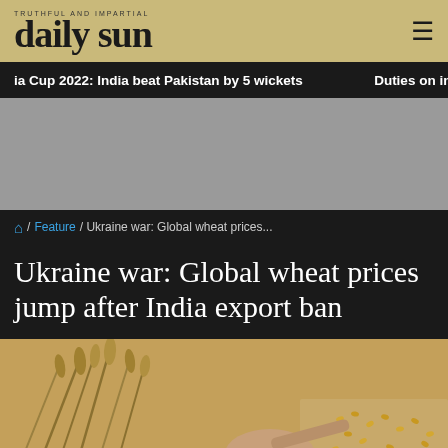daily sun
ia Cup 2022: India beat Pakistan by 5 wickets   Duties on import of n
[Figure (other): Gray advertisement placeholder area]
🏠 / Feature / Ukraine war: Global wheat prices...
Ukraine war: Global wheat prices jump after India export ban
[Figure (photo): Photograph of wheat stalks and wheat grains with a burlap sack and a wooden scoop]